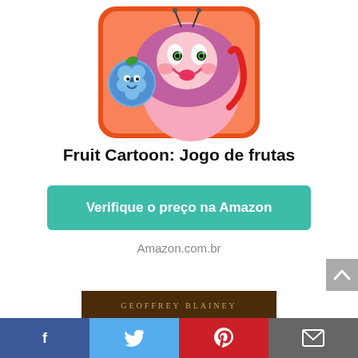[Figure (illustration): Colorful cartoon mobile game icon showing a pink fruit character and a blue berry character on an orange rounded square background — Fruit Cartoon game image]
Fruit Cartoon: Jogo de frutas
Verifique o preço na Amazon
Amazon.com.br
[Figure (photo): Book cover for 'Uma Breve História' by Geoffrey Blainey, with a dark brownish background and white serif text]
Facebook  Twitter  Pinterest  Email social share bar